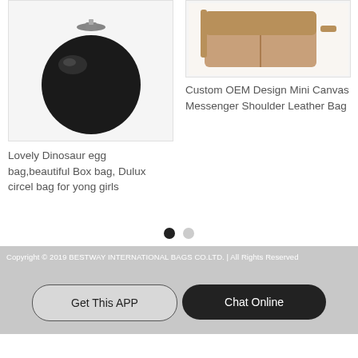[Figure (photo): Black round/sphere-shaped handbag (Dinosaur egg / circle bag) on light grey background]
Lovely Dinosaur egg bag,beautiful Box bag, Dulux circel bag for yong girls
[Figure (photo): Tan/beige mini canvas messenger shoulder leather bag on white background]
Custom OEM Design Mini Canvas Messenger Shoulder Leather Bag
Copyright © 2019 BESTWAY INTERNATIONAL BAGS CO.LTD. | All Rights Reserved